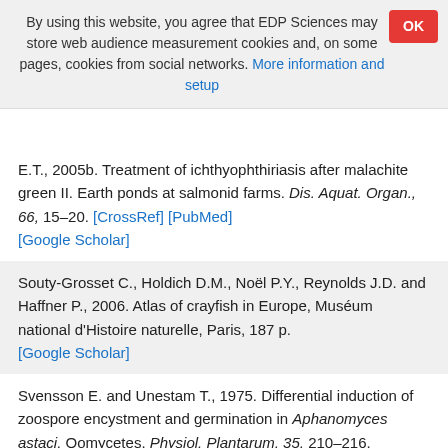By using this website, you agree that EDP Sciences may store web audience measurement cookies and, on some pages, cookies from social networks. More information and setup
E.T., 2005b. Treatment of ichthyophthiriasis after malachite green II. Earth ponds at salmonid farms. Dis. Aquat. Organ., 66, 15–20. [CrossRef] [PubMed] [Google Scholar]
Souty-Grosset C., Holdich D.M., Noël P.Y., Reynolds J.D. and Haffner P., 2006. Atlas of crayfish in Europe, Muséum national d'Histoire naturelle, Paris, 187 p. [Google Scholar]
Svensson E. and Unestam T., 1975. Differential induction of zoospore encystment and germination in Aphanomyces astaci, Oomycetes. Physiol. Plantarum, 35, 210–216. [CrossRef] [Google Scholar]